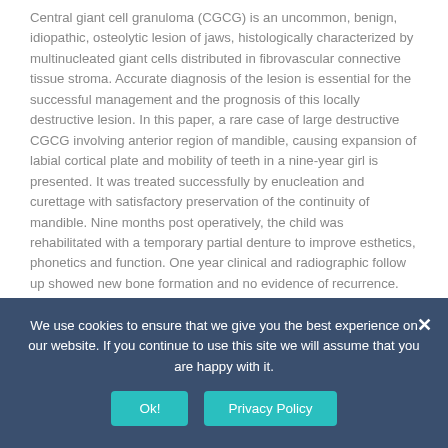Central giant cell granuloma (CGCG) is an uncommon, benign, idiopathic, osteolytic lesion of jaws, histologically characterized by multinucleated giant cells distributed in fibrovascular connective tissue stroma. Accurate diagnosis of the lesion is essential for the successful management and the prognosis of this locally destructive lesion. In this paper, a rare case of large destructive CGCG involving anterior region of mandible, causing expansion of labial cortical plate and mobility of teeth in a nine-year girl is presented. It was treated successfully by enucleation and curettage with satisfactory preservation of the continuity of mandible. Nine months post operatively, the child was rehabilitated with a temporary partial denture to improve esthetics, phonetics and function. One year clinical and radiographic follow up showed new bone formation and no evidence of recurrence.
We use cookies to ensure that we give you the best experience on our website. If you continue to use this site we will assume that you are happy with it.
Ok! | Privacy Policy